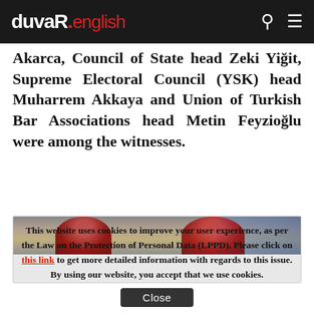duvaR. english
Akarca, Council of State head Zeki Yiğit, Supreme Electoral Council (YSK) head Muharrem Akkaya and Union of Turkish Bar Associations head Metin Feyzioğlu were among the witnesses.
[Figure (photo): Blurred/cropped photo showing figures wearing red hats in what appears to be a formal interior setting]
This website uses cookies to improve your user experience, as per the Law on the Protection of Personal Data (LPPD). Please click on this link to get more detailed information with regards to this issue. By using our website, you accept that we use cookies.